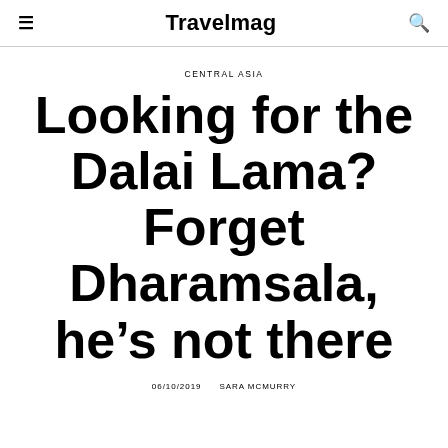Travelmag
CENTRAL ASIA
Looking for the Dalai Lama? Forget Dharamsala, he’s not there
06/10/2019   SARA MCMURRY